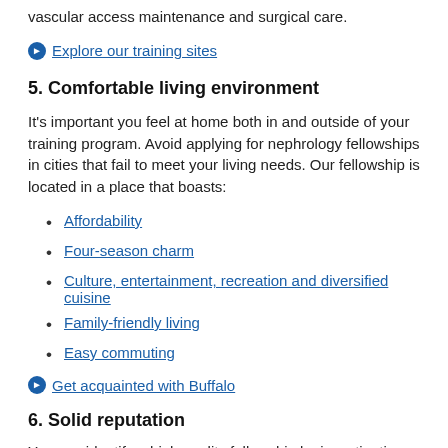vascular access maintenance and surgical care.
Explore our training sites
5. Comfortable living environment
It's important you feel at home both in and outside of your training program. Avoid applying for nephrology fellowships in cities that fail to meet your living needs. Our fellowship is located in a place that boasts:
Affordability
Four-season charm
Culture, entertainment, recreation and diversified cuisine
Family-friendly living
Easy commuting
Get acquainted with Buffalo
6. Solid reputation
You can identify a high quality fellowship by investigating the